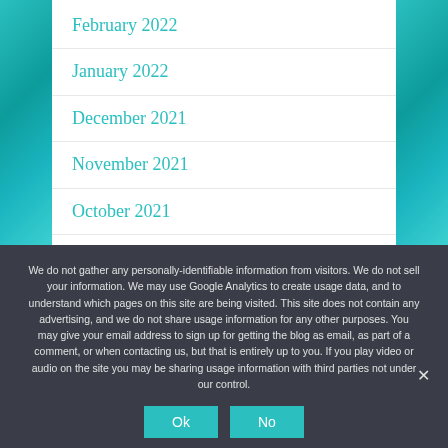February 2022
January 2022
December 2021
November 2021
October 2021
September 2021
We do not gather any personally-identifiable information from visitors. We do not sell your information. We may use Google Analytics to create usage data, and to understand which pages on this site are being visited. This site does not contain any advertising, and we do not share usage information for any other purposes. You may give your email address to sign up for getting the blog as email, as part of a comment, or when contacting us, but that is entirely up to you. If you play video or audio on the site you may be sharing usage information with third parties not under our control.